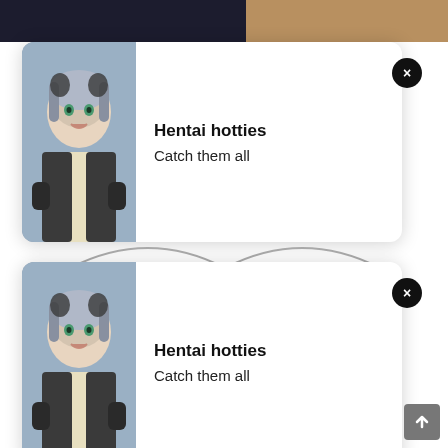[Figure (screenshot): Background showing dark manga/anime content at top and white page below]
[Figure (illustration): First ad card with anime girl thumbnail, title 'Hentai hotties', subtitle 'Catch them all', and X close button]
[Figure (illustration): Second ad card with same anime girl thumbnail, title 'Hentai hotties', subtitle 'Catch them all', and X close button]
[Figure (illustration): Small Korean-text banner ad in lower right area]
[Figure (illustration): Scroll-to-top button at bottom right]